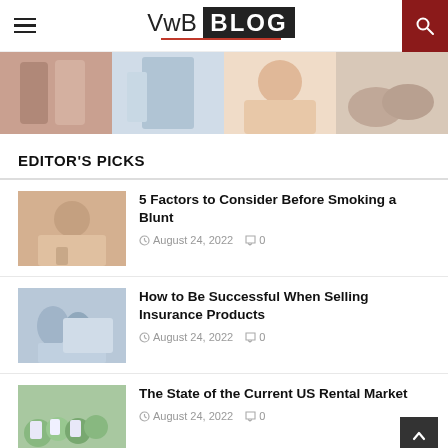VwB BLOG
[Figure (photo): Header photo strip with four images: couple walking, person at window, woman relaxing, hands together]
EDITOR'S PICKS
[Figure (photo): Woman smoking or drinking, sitting on bed]
5 Factors to Consider Before Smoking a Blunt
August 24, 2022   0
[Figure (photo): Elderly couple with insurance agent looking at documents]
How to Be Successful When Selling Insurance Products
August 24, 2022   0
[Figure (photo): Hand holding small house models, rental market concept]
The State of the Current US Rental Market
August 24, 2022   0